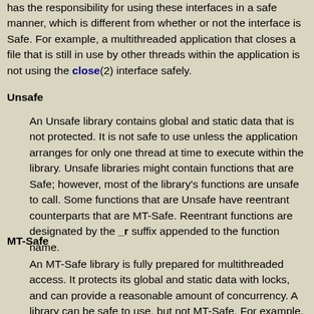has the responsibility for using these interfaces in a safe manner, which is different from whether or not the interface is Safe. For example, a multithreaded application that closes a file that is still in use by other threads within the application is not using the close(2) interface safely.
Unsafe
An Unsafe library contains global and static data that is not protected. It is not safe to use unless the application arranges for only one thread at time to execute within the library. Unsafe libraries might contain functions that are Safe; however, most of the library's functions are unsafe to call. Some functions that are Unsafe have reentrant counterparts that are MT-Safe. Reentrant functions are designated by the _r suffix appended to the function name.
MT-Safe
An MT-Safe library is fully prepared for multithreaded access. It protects its global and static data with locks, and can provide a reasonable amount of concurrency. A library can be safe to use, but not MT-Safe. For example, surrounding an entire library with a monitor